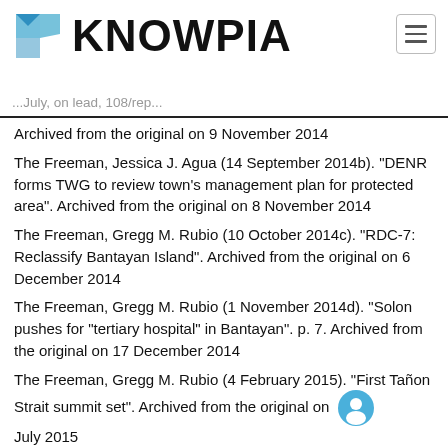KNOWPIA
Archived from the original on 9 November 2014
The Freeman, Jessica J. Agua (14 September 2014b). "DENR forms TWG to review town's management plan for protected area". Archived from the original on 8 November 2014
The Freeman, Gregg M. Rubio (10 October 2014c). "RDC-7: Reclassify Bantayan Island". Archived from the original on 6 December 2014
The Freeman, Gregg M. Rubio (1 November 2014d). "Solon pushes for "tertiary hospital" in Bantayan". p. 7. Archived from the original on 17 December 2014
The Freeman, Gregg M. Rubio (4 February 2015). "First Tañon Strait summit set". Archived from the original on July 2015
The Manila Bulletin, Ellalyn de Vera (11 December 2009)